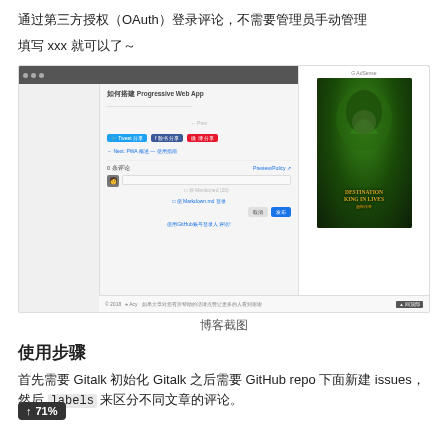通过第三方授权（OAuth）登录评论，不需要管理员手动管理
填写 xxx 就可以了～
[Figure (screenshot): Screenshot of a blog page with a Progressive Web App comment section using Gitalk, showing share buttons (Tweet, Facebook, Weibo), a next post link, a comment input area with GitHub login, and a sidebar advertisement for a game.]
博客截图
使用步骤
首先需要 Gitalk 初始化 Gitalk 之后需要 GitHub repo 下面新建 issues，然后 labels 来区分不同文章的评论。